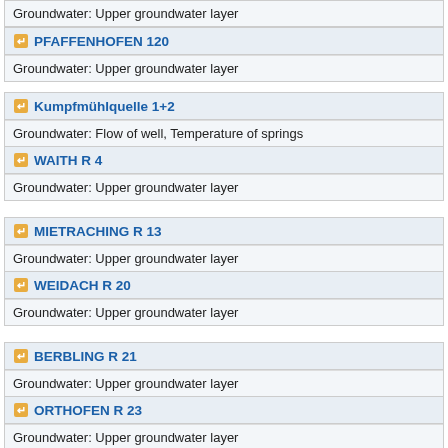Groundwater: Upper groundwater layer
PFAFFENHOFEN 120 — Groundwater: Upper groundwater layer
Kumpfmühlquelle 1+2 — Groundwater: Flow of well, Temperature of springs
WAITH R 4 — Groundwater: Upper groundwater layer
MIETRACHING R 13 — Groundwater: Upper groundwater layer
WEIDACH R 20 — Groundwater: Upper groundwater layer
BERBLING R 21 — Groundwater: Upper groundwater layer
ORTHOFEN R 23 — Groundwater: Upper groundwater layer